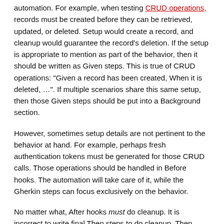automation. For example, when testing CRUD operations, records must be created before they can be retrieved, updated, or deleted. Setup would create a record, and cleanup would guarantee the record's deletion. If the setup is appropriate to mention as part of the behavior, then it should be written as Given steps. This is true of CRUD operations: "Given a record has been created, When it is deleted, …". If multiple scenarios share this same setup, then those Given steps should be put into a Background section.
However, sometimes setup details are not pertinent to the behavior at hand. For example, perhaps fresh authentication tokens must be generated for those CRUD calls. Those operations should be handled in Before hooks. The automation will take care of it, while the Gherkin steps can focus exclusively on the behavior.
No matter what, After hooks must do cleanup. It is incorrect to write final Then steps to do cleanup. Then steps should verify outcomes, not take more actions. Plus, the final Then steps will not be run if the test has a failure and aborts!